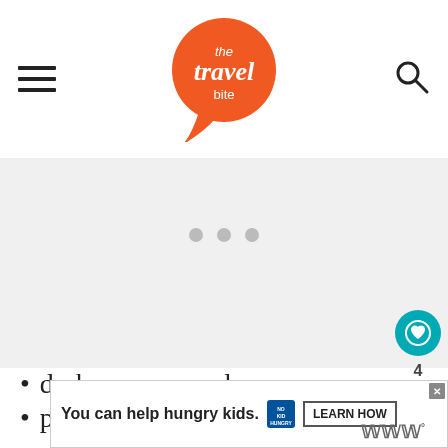the travel bite
[Figure (other): Gray image placeholder area with three gray dots indicating a loading carousel]
dark cocoa powder
powdered sugar
cinnamon
cayenne
vanilla
[Figure (other): WHAT'S NEXT sidebar showing Mexican Enchiladas with a teal arrow]
[Figure (other): Advertisement banner: You can help hungry kids. No Kid Hungry. LEARN HOW button]